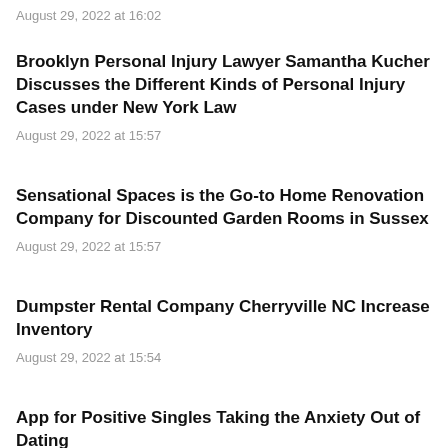August 29, 2022 at 16:02
Brooklyn Personal Injury Lawyer Samantha Kucher Discusses the Different Kinds of Personal Injury Cases under New York Law
August 29, 2022 at 15:57
Sensational Spaces is the Go-to Home Renovation Company for Discounted Garden Rooms in Sussex
August 29, 2022 at 15:57
Dumpster Rental Company Cherryville NC Increase Inventory
August 29, 2022 at 15:54
App for Positive Singles Taking the Anxiety Out of Dating